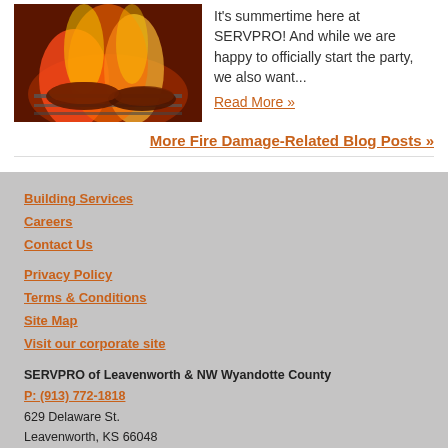[Figure (photo): Grilled meat on a barbecue grill with flames and fire in the background]
It's summertime here at SERVPRO! And while we are happy to officially start the party, we also want...
Read More »
More Fire Damage-Related Blog Posts »
Building Services
Careers
Contact Us
Privacy Policy
Terms & Conditions
Site Map
Visit our corporate site
SERVPRO of Leavenworth & NW Wyandotte County
P: (913) 772-1818
629 Delaware St.
Leavenworth, KS 66048
[Figure (infographic): Social media icons: Facebook, Twitter, Google, Yelp]